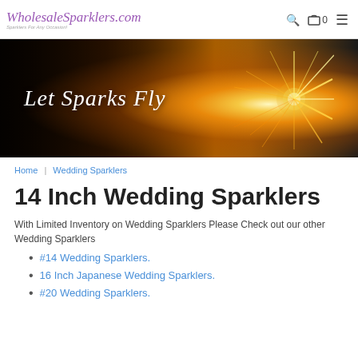WholesaleSparklers.com — Sparklers For Any Occasion!
[Figure (photo): Hero banner with silhouette of couple and sparkler burst, text 'Let Sparks Fly']
Home | Wedding Sparklers
14 Inch Wedding Sparklers
With Limited Inventory on Wedding Sparklers Please Check out our other Wedding Sparklers
#14 Wedding Sparklers.
16 Inch Japanese Wedding Sparklers.
#20 Wedding Sparklers.